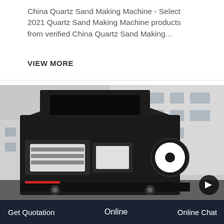China Quartz Sand Making Machine - Select 2021 Quartz Sand Making Machine products from verified China Quartz Sand Making...
VIEW MORE
[Figure (photo): Photo of a large black mobile crushing/sand making machine parked in front of a white industrial building. The machine has a prominent hopper, conveyor components, and is mounted on a trailer chassis. A circular logo or emblem is visible on the right side of the machine.]
Get Quotation   Online   Online Chat